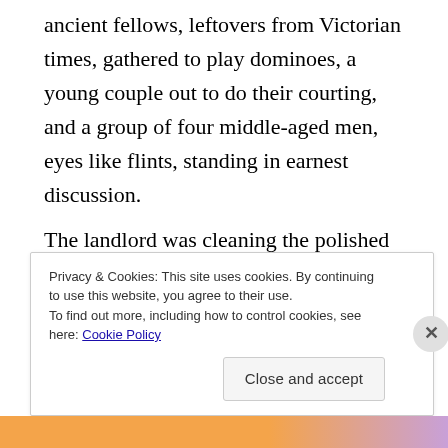ancient fellows, leftovers from Victorian times, gathered to play dominoes, a young couple out to do their courting, and a group of four middle-aged men, eyes like flints, standing in earnest discussion.
The landlord was cleaning the polished wood shelves, his back turned.
He saw her at the end of the bar, a glass of gin and tonic in front of her, a cigarette between her fingers. She was wearing a nubby tweed skirt and an ochre sweater, the sleeves rolled up on her red cardigan. There was a
Privacy & Cookies: This site uses cookies. By continuing to use this website, you agree to their use.
To find out more, including how to control cookies, see here: Cookie Policy
Close and accept